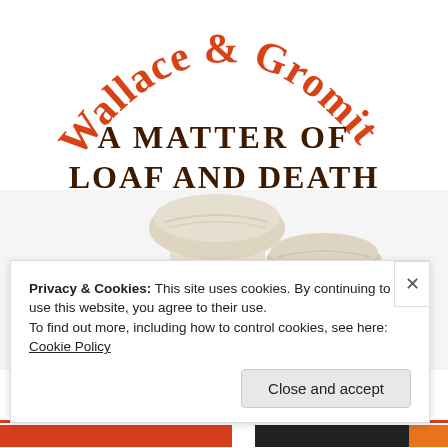[Figure (logo): Wallace & Gromit logo in orange arched script lettering, with subtitle 'A MATTER OF LOAF AND DEATH' in dark brown blocky text below]
[Figure (photo): Two large white bread loaves / mushroom-shaped bread rolls on a white background, with a partial golden-brown round loaf visible at lower left]
Privacy & Cookies: This site uses cookies. By continuing to use this website, you agree to their use.
To find out more, including how to control cookies, see here: Cookie Policy
Close and accept